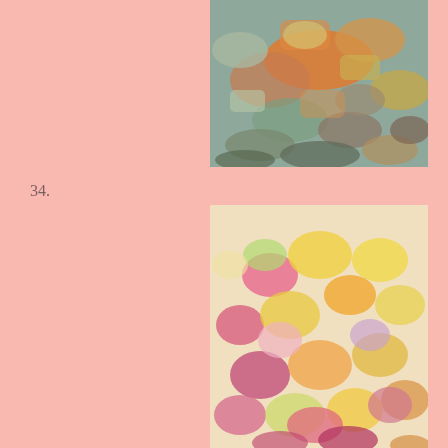[Figure (photo): Impressionist painting with orange, blue-green, yellow, and peach abstract brushstrokes suggesting figures or landscape in a loose, expressive style.]
34.
[Figure (photo): Impressionist floral painting with pink, yellow, orange, and light green rounded brushstrokes resembling blooming flowers filling the entire canvas.]